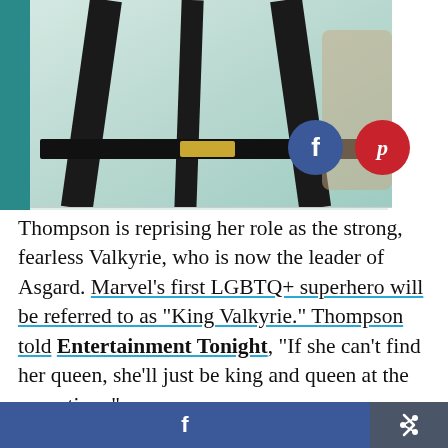[Figure (photo): Close-up photo of a person wearing a mint green and black geometric dress with a black leather belt with gold buckle. Social media share buttons (Facebook blue circle and Pinterest red circle) overlay the right side of the image.]
Thompson is reprising her role as the strong, fearless Valkyrie, who is now the leader of Asgard. Marvel's first LGBTQ+ superhero will be referred to as "King Valkyrie." Thompson told Entertainment Tonight, "If she can't find her queen, she'll just be king and queen at the same time."
Image Source: Getty / George Pimentel